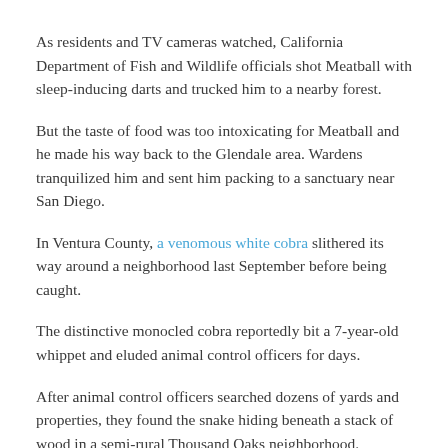As residents and TV cameras watched, California Department of Fish and Wildlife officials shot Meatball with sleep-inducing darts and trucked him to a nearby forest.
But the taste of food was too intoxicating for Meatball and he made his way back to the Glendale area. Wardens tranquilized him and sent him packing to a sanctuary near San Diego.
In Ventura County, a venomous white cobra slithered its way around a neighborhood last September before being caught.
The distinctive monocled cobra reportedly bit a 7-year-old whippet and eluded animal control officers for days.
After animal control officers searched dozens of yards and properties, they found the snake hiding beneath a stack of wood in a semi-rural Thousand Oaks neighborhood.
By the end of the ordeal, the snake got its own Twitter account: @AlbinoMonoCobra